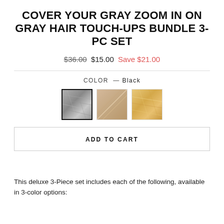COVER YOUR GRAY ZOOM IN ON GRAY HAIR TOUCH-UPS BUNDLE 3-PC SET
$36.00  $15.00  Save $21.00
COLOR — Black
[Figure (other): Three hair color swatches: first (selected, black border) shows a gray/black hair texture, second shows a light brown/taupe crossed swatch, third shows a golden blonde hair swatch.]
ADD TO CART
This deluxe 3-Piece set includes each of the following, available in 3-color options: